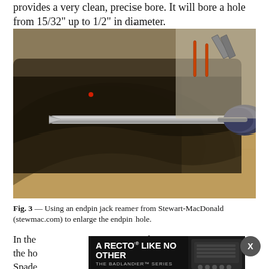provides a very clean, precise bore. It will bore a hole from 15/32" up to 1/2" in diameter.
[Figure (photo): Photo of an endpin jack reamer tool being used to enlarge an endpin hole in a guitar body. The reamer is a long metal cone-shaped tool attached to a power drill, being inserted into a hole in the side of a guitar.]
Fig. 3 — Using an endpin jack reamer from Stewart-MacDonald (stewmac.com) to enlarge the endpin hole.
In the hope the hole sh. Spade cult to keep them perfectly straight as you drill, so the endpin
[Figure (other): Advertisement overlay: Mesa/Boogie 'A Recto Like No Other - The Badlander Series' with Learn More button and guitar image]